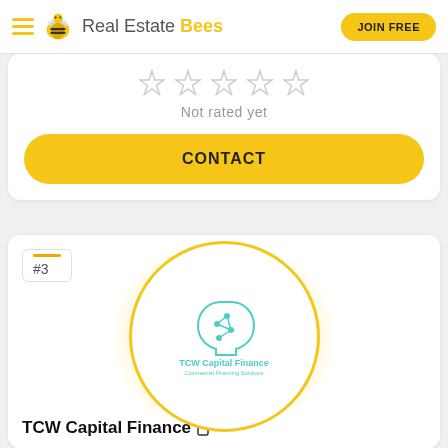Real Estate Bees
Not rated yet
CONTACT
#3
[Figure (logo): TCW Capital Finance logo — circular border with teal head/network icon and text 'TCW Capital Finance / Commercial Financing Solutions']
TCW Capital Finance